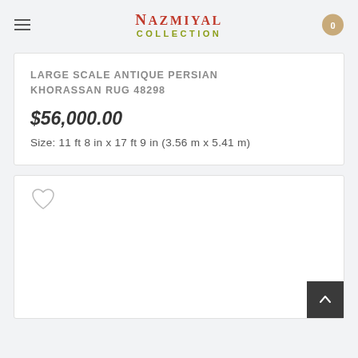[Figure (logo): Nazmiyal Collection logo with hamburger menu and cart badge]
LARGE SCALE ANTIQUE PERSIAN KHORASSAN RUG 48298
$56,000.00
Size: 11 ft 8 in x 17 ft 9 in (3.56 m x 5.41 m)
[Figure (other): Product card with heart/wishlist icon, second product listing]